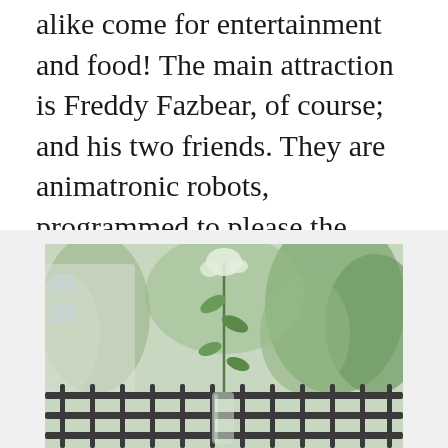alike come for entertainment and food! The main attraction is Freddy Fazbear, of course; and his two friends. They are animatronic robots, programmed to please the crowds! Timekeeper Freddy is a grayscaled version of Withered Freddy and has clocks on his head, stomach and hands to represent his abilities. FNaF Ultimate Edition 2.
[Figure (photo): Outdoor photo showing a glass vase with a green plant/flowers on a metal railing, with blurred green trees in the background.]